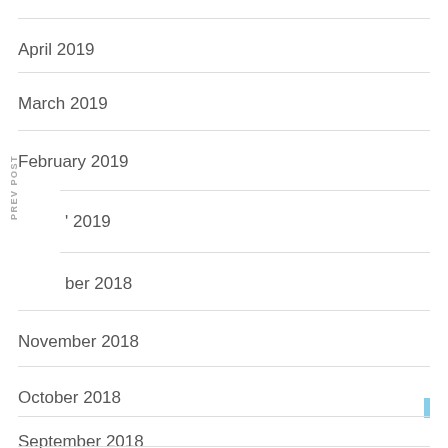April 2019
March 2019
February 2019
· 2019
ber 2018
November 2018
October 2018
September 2018